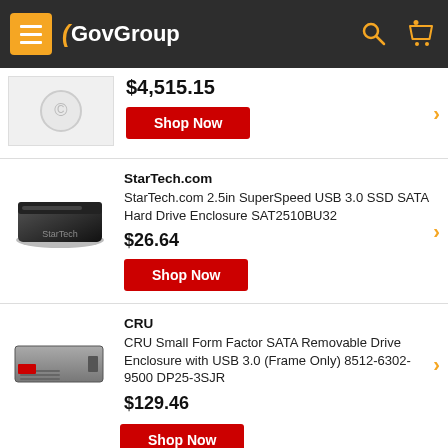GovGroup
$4,515.15
Shop Now
StarTech.com
StarTech.com 2.5in SuperSpeed USB 3.0 SSD SATA Hard Drive Enclosure SAT2510BU32
$26.64
Shop Now
CRU
CRU Small Form Factor SATA Removable Drive Enclosure with USB 3.0 (Frame Only) 8512-6302-9500 DP25-3SJR
$129.46
Shop Now